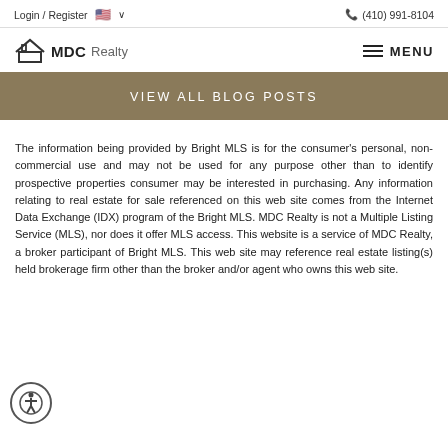Login / Register  🇺🇸 ∨    📞 (410) 991-8104
[Figure (logo): MDC Realty logo with house icon and text 'MDC Realty']
VIEW ALL BLOG POSTS
The information being provided by Bright MLS is for the consumer's personal, non-commercial use and may not be used for any purpose other than to identify prospective properties consumer may be interested in purchasing. Any information relating to real estate for sale referenced on this web site comes from the Internet Data Exchange (IDX) program of the Bright MLS. MDC Realty is not a Multiple Listing Service (MLS), nor does it offer MLS access. This website is a service of MDC Realty, a broker participant of Bright MLS. This web site may reference real estate listing(s) held brokerage firm other than the broker and/or agent who owns this web site.